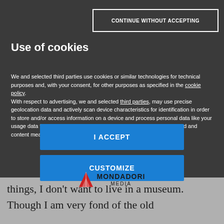CONTINUE WITHOUT ACCEPTING
Use of cookies
We and selected third parties use cookies or similar technologies for technical purposes and, with your consent, for other purposes as specified in the cookie policy.
With respect to advertising, we and selected third parties, may use precise geolocation data and actively scan device characteristics for identification in order to store and/or access information on a device and process personal data like your usage data for the following purposes: personalized ads and content, ad and content measurement, audience insights and product development.
I ACCEPT
CUSTOMIZE
[Figure (logo): Mondadori Media logo with red triangle icon and bold text]
things, I don’t want to live in a museum. Though I am very fond of the old